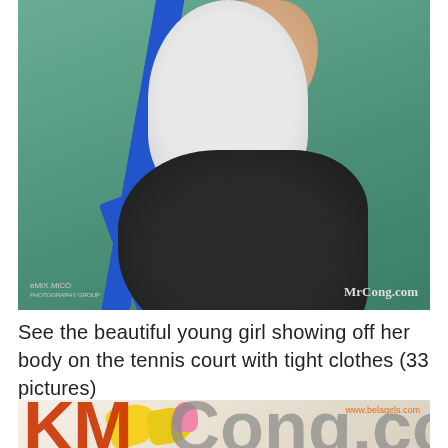[Figure (photo): A young woman in a white top and black tight leggings near a blue metal pole structure on a green tennis court. Watermarks: 'eMIX.MiCO' on bottom left and 'MrCong.com' on bottom right.]
See the beautiful young girl showing off her body on the tennis court with tight clothes (33 pictures)
[Figure (photo): Partial view of bottom thumbnail image showing large orange/red letters and a logo overlay with 'www.belagirls.com' watermark.]